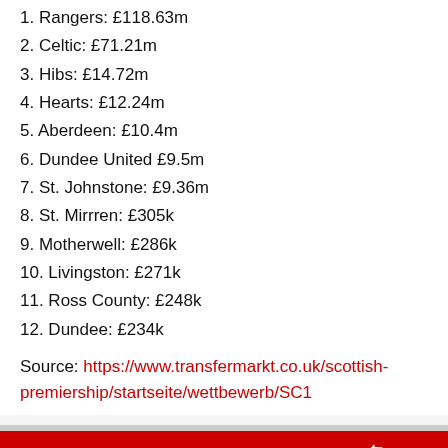1. Rangers: £118.63m
2. Celtic: £71.21m
3. Hibs: £14.72m
4. Hearts: £12.24m
5. Aberdeen: £10.4m
6. Dundee United £9.5m
7. St. Johnstone: £9.36m
8. St. Mirrren: £305k
9. Motherwell: £286k
10. Livingston: £271k
11. Ross County: £248k
12. Dundee: £234k
Source: https://www.transfermarkt.co.uk/scottish-premiership/startseite/wettbewerb/SC1
May 12, 2022  #550
ZolaWasMagic  Newbie